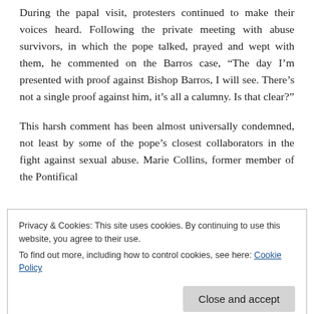During the papal visit, protesters continued to make their voices heard. Following the private meeting with abuse survivors, in which the pope talked, prayed and wept with them, he commented on the Barros case, “The day I’m presented with proof against Bishop Barros, I will see. There’s not a single proof against him, it’s all a calumny. Is that clear?”
This harsh comment has been almost universally condemned, not least by some of the pope’s closest collaborators in the fight against sexual abuse. Marie Collins, former member of the Pontifical
Privacy & Cookies: This site uses cookies. By continuing to use this website, you agree to their use.
To find out more, including how to control cookies, see here: Cookie Policy
has aligned himself with Cardinals Ezzati and